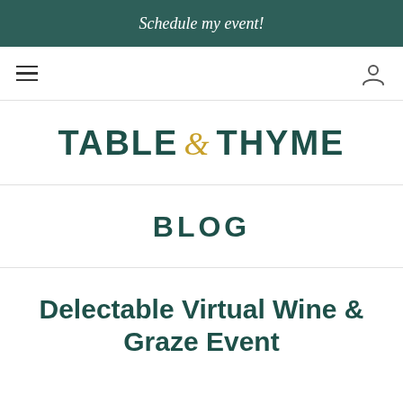Schedule my event!
[Figure (screenshot): Navigation bar with hamburger menu icon on left and user/account icon on right]
TABLE & THYME
BLOG
Delectable Virtual Wine & Graze Event